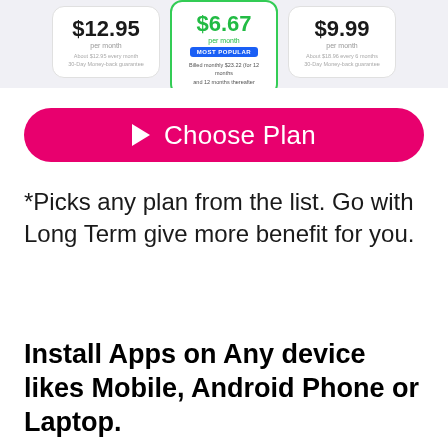[Figure (screenshot): Pricing cards showing three subscription plans: $12.95/mo, $6.67/mo (most popular, featured in green), and $9.99/mo with 30-day money back guarantee details]
Choose Plan
*Picks any plan from the list. Go with Long Term give more benefit for you.
Install Apps on Any device likes Mobile, Android Phone or Laptop.